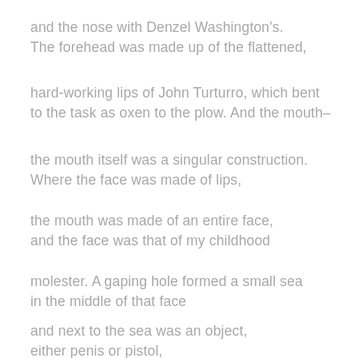and the nose with Denzel Washington's.
The forehead was made up of the flattened,
hard-working lips of John Turturro, which bent
to the task as oxen to the plow. And the mouth–
the mouth itself was a singular construction.
Where the face was made of lips,
the mouth was made of an entire face,
and the face was that of my childhood
molester. A gaping hole formed a small sea
in the middle of that face
and next to the sea was an object,
either penis or pistol,